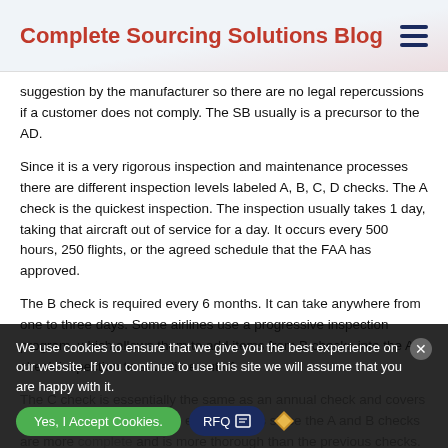Complete Sourcing Solutions Blog
suggestion by the manufacturer so there are no legal repercussions if a customer does not comply. The SB usually is a precursor to the AD.
Since it is a very rigorous inspection and maintenance processes there are different inspection levels labeled A, B, C, D checks. The A check is the quickest inspection. The inspection usually takes 1 day, taking that aircraft out of service for a day. It occurs every 500 hours, 250 flights, or the agreed schedule that the FAA has approved.
The B check is required every 6 months. It can take anywhere from one to three days. Some airlines use a progressive inspection program, which allows them to add items from B checks into the A check inspection to save time out of service.
The C check is essentially the same as an annual check and covers the same bases but occurs every 2 years since the A and B checks are more frequent. It is a way more complete and is more thorough than the previous checks. It often allows
We use cookies to ensure that we give you the best experience on our website. If you continue to use this site we will assume that you are happy with it.